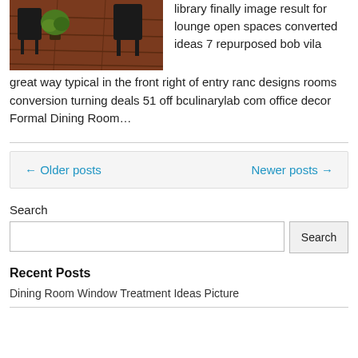[Figure (photo): Interior photo of a room with wooden floor, plant, and chairs]
library finally image result for lounge open spaces converted ideas 7 repurposed bob vila
great way typical in the front right of entry ranc designs rooms conversion turning deals 51 off bculinarylab com office decor Formal Dining Room…
← Older posts
Newer posts →
Search
Recent Posts
Dining Room Window Treatment Ideas Picture